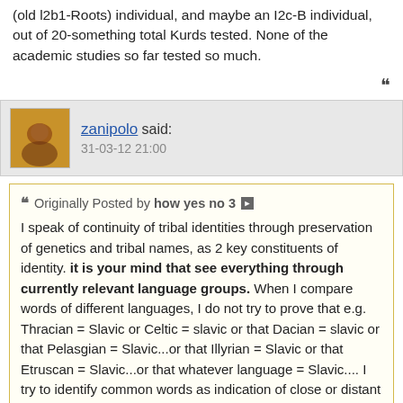(old l2b1-Roots) individual, and maybe an I2c-B individual, out of 20-something total Kurds tested. None of the academic studies so far tested so much.
zanipolo said: 31-03-12 21:00
Originally Posted by how yes no 3 — I speak of continuity of tribal identities through preservation of genetics and tribal names, as 2 key constituents of identity. it is your mind that see everything through currently relevant language groups. When I compare words of different languages, I do not try to prove that e.g. Thracian = Slavic or Celtic = slavic or that Dacian = slavic or that Pelasgian = Slavic...or that Illyrian = Slavic or that Etruscan = Slavic...or that whatever language = Slavic.... I try to identify common words as indication of close or distant relation between tribes due to carrying perhaps similar haplogroups and due to perhaps common part of history with some of populations going through language shifts.....